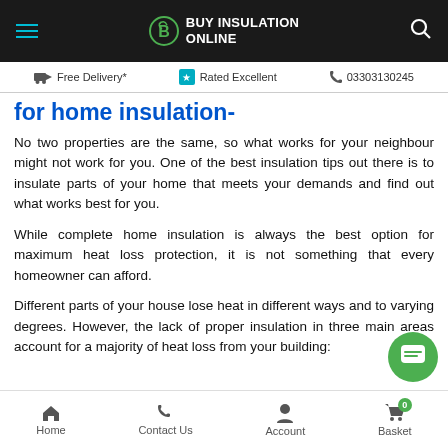Buy Insulation Online — Free Delivery* | Rated Excellent | 03303130245
for home insulation-
No two properties are the same, so what works for your neighbour might not work for you. One of the best insulation tips out there is to insulate parts of your home that meets your demands and find out what works best for you.
While complete home insulation is always the best option for maximum heat loss protection, it is not something that every homeowner can afford.
Different parts of your house lose heat in different ways and to varying degrees. However, the lack of proper insulation in three main areas account for a majority of heat loss from your building:
Home | Contact Us | Account | Basket 0